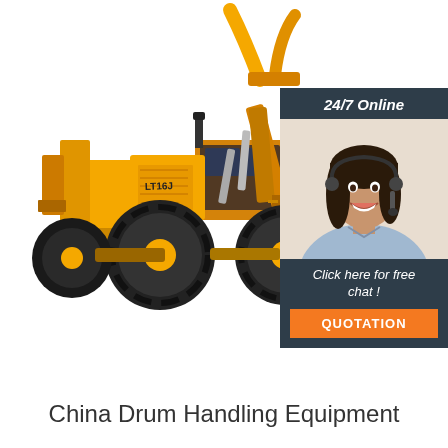[Figure (photo): Yellow heavy-duty front loader / drum handling equipment with large tires and a grapple/fork attachment at the front, photographed on a white background]
[Figure (infographic): Customer service chat widget with dark slate background showing '24/7 Online' header, a smiling female customer service representative wearing a headset, 'Click here for free chat!' text, and an orange 'QUOTATION' button]
China Drum Handling Equipment